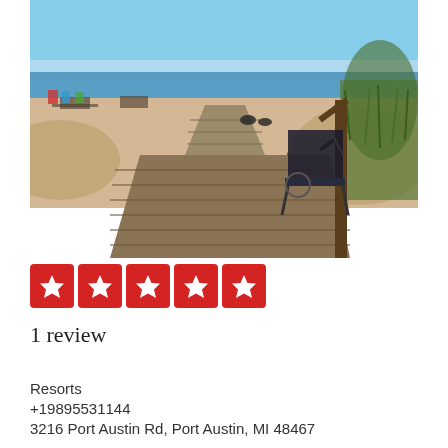[Figure (photo): Beach scene viewed from a wooden boardwalk/deck with a folding camp chair on the right side. Sandy beach with dune grass, picnic tables in background, and lake/ocean with blue sky visible in the distance.]
[Figure (other): Five red star rating boxes (Yelp-style 5-star rating)]
1 review
Resorts
+19895531144
3216 Port Austin Rd, Port Austin, MI 48467